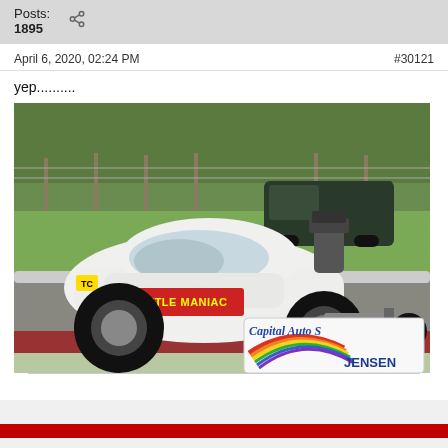Posts: 1895
April 6, 2020, 02:24 PM   #30121
yep..........
[Figure (photo): A modified Volkswagen Beetle drag racing car (white body, large rear tires, exposed engine/supercharger) on a drag strip. A dark pickup truck is parked in the background on grass. A 'Capital Auto S...' and 'JENSEN' sponsor banner is visible in the lower right corner. The car has 'BEETLE MANIAC' written on the side.]